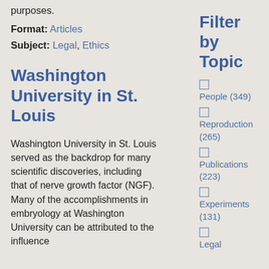purposes.
Format: Articles
Subject: Legal, Ethics
Washington University in St. Louis
Washington University in St. Louis served as the backdrop for many scientific discoveries, including that of nerve growth factor (NGF). Many of the accomplishments in embryology at Washington University can be attributed to the influence
Filter by Topic
People (349)
Reproduction (265)
Publications (223)
Experiments (131)
Legal